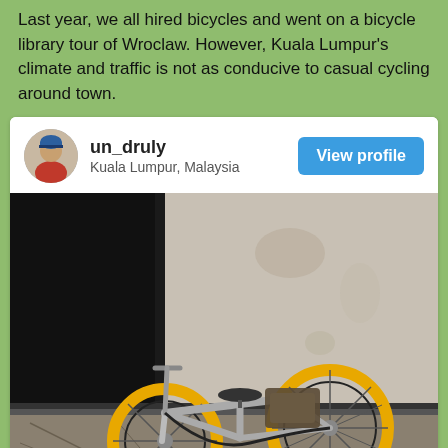Last year, we all hired bicycles and went on a bicycle library tour of Wroclaw. However, Kuala Lumpur's climate and traffic is not as conducive to casual cycling around town.
[Figure (screenshot): Social media profile card for user 'un_druly' from Kuala Lumpur, Malaysia with a 'View profile' button, followed by a photo of a bicycle lying on its side against a weathered concrete wall near a dark doorway, with yellow wheels visible.]